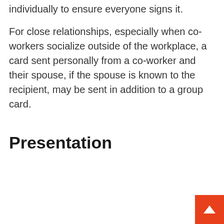individually to ensure everyone signs it.
For close relationships, especially when co-workers socialize outside of the workplace, a card sent personally from a co-worker and their spouse, if the spouse is known to the recipient, may be sent in addition to a group card.
Presentation